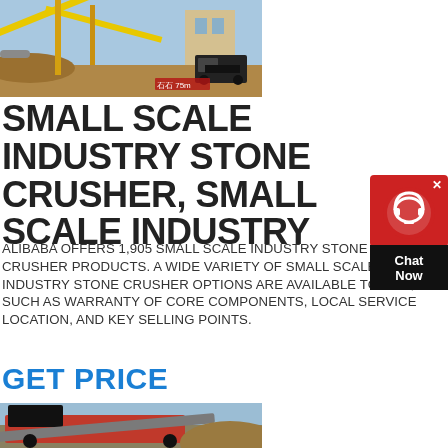[Figure (photo): Industrial stone crusher / mining equipment outdoors with conveyor belts and yellow crane structures, construction site background]
SMALL SCALE INDUSTRY STONE CRUSHER, SMALL SCALE INDUSTRY
ALIBABA OFFERS 1,905 SMALL SCALE INDUSTRY STONE CRUSHER PRODUCTS. A WIDE VARIETY OF SMALL SCALE INDUSTRY STONE CRUSHER OPTIONS ARE AVAILABLE TO YOU, SUCH AS WARRANTY OF CORE COMPONENTS, LOCAL SERVICE LOCATION, AND KEY SELLING POINTS.
GET PRICE
[Figure (photo): Large red mobile stone crushing machine with conveyor belt at a mining/quarry site with dirt pile and blue sky]
[Figure (other): Chat Now widget - red circular icon with headset silhouette and black Chat Now button]